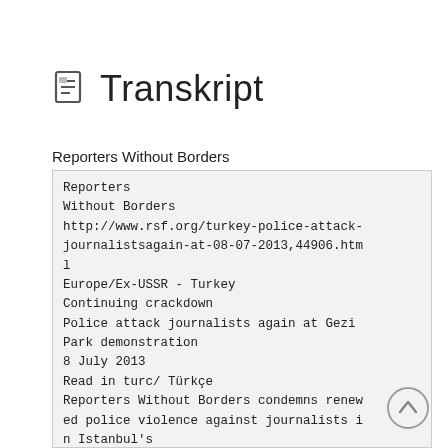Transkript
Reporters Without Borders
Reporters
Without Borders
http://www.rsf.org/turkey-police-attack-journalistsagain-at-08-07-2013,44906.html
Europe/Ex-USSR - Turkey
Continuing crackdown
Police attack journalists again at Gezi Park demonstration
8 July 2013
Read in turc/ Türkçe
Reporters Without Borders condemns renewed police violence against journalists in Istanbul's
Taksim square and on the narrow streets of the surrounding district of Beyoglu on 6 July. At